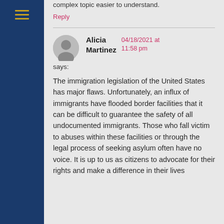complex topic easier to understand.
Reply
Alicia Martinez says:
04/18/2021 at 11:58 pm
The immigration legislation of the United States has major flaws. Unfortunately, an influx of immigrants have flooded border facilities that it can be difficult to guarantee the safety of all undocumented immigrants. Those who fall victim to abuses within these facilities or through the legal process of seeking asylum often have no voice. It is up to us as citizens to advocate for their rights and make a difference in their lives